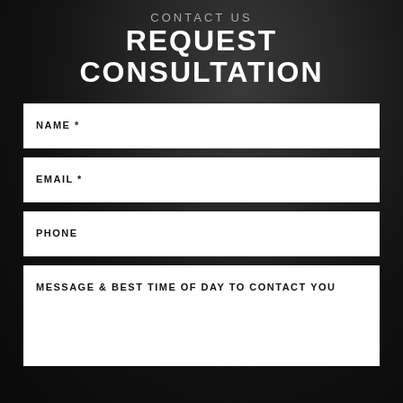CONTACT US
REQUEST CONSULTATION
NAME *
EMAIL *
PHONE
MESSAGE & BEST TIME OF DAY TO CONTACT YOU